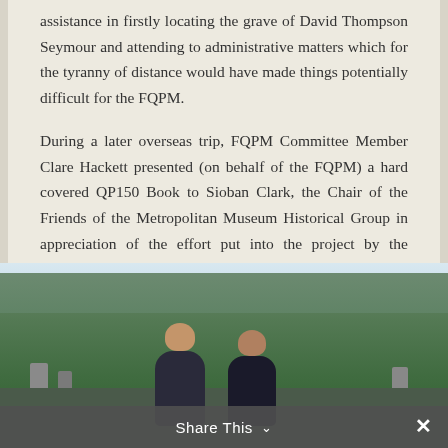assistance in firstly locating the grave of David Thompson Seymour and attending to administrative matters which for the tyranny of distance would have made things potentially difficult for the FQPM.
During a later overseas trip, FQPM Committee Member Clare Hackett presented (on behalf of the FQPM) a hard covered QP150 Book to Sioban Clark, the Chair of the Friends of the Metropolitan Museum Historical Group in appreciation of the effort put into the project by the ‘Friends’.
[Figure (photo): Outdoor photograph of two people (women) standing in what appears to be a cemetery or historical site with trees in the background.]